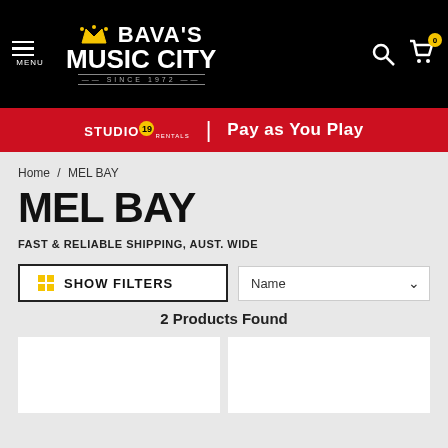BAVA'S MUSIC CITY — SINCE 1972 | MENU | Search | Cart (0)
STUDIO 19 RENTALS | Pay as You Play
Home / MEL BAY
MEL BAY
FAST & RELIABLE SHIPPING, AUST. WIDE
SHOW FILTERS
Name
2 Products Found